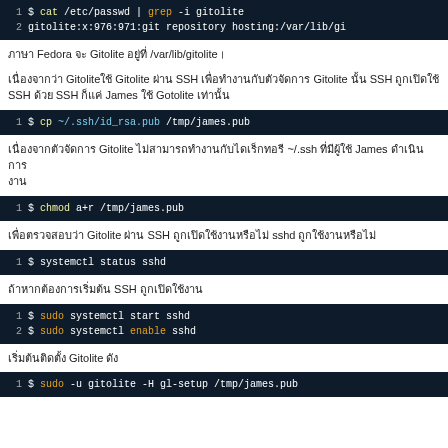[Figure (screenshot): Terminal code block: $ cat /etc/passwd | grep -i gitolite; gitolite:x:976:971:git repository hosting:/var/lib/gi]
ภาษา Fedora จะ Gitolite อยู่ที่ /var/lib/gitolite।
เนื่องจากว่า Gitoliteใช้ Gitolite ผ่าน SSH เพื่อทำงานกับตัวจัดการ Gitolite นั้น SSH ถูกเปิดใช้ SSH ด้วย SSH ก็แค่ James ใช้ Gotolite เท่านั้น
[Figure (screenshot): Terminal code block: $ cp ~/.ssh/id_rsa.pub /tmp/james.pub]
เนื่องจากตัวจัดการ Gitolite ไม่สามารถทำงานกับไดเร็กทอรี ~/.ssh ที่มีผู้ใช้ James ดำเนินการ
[Figure (screenshot): Terminal code block: $ chmod a+r /tmp/james.pub]
เพื่อตรวจสอบว่า Gitolite ผ่าน SSH ถูกเปิดใช้งานหรือไม่ sshd ถูกใช้งานหรือไม่
[Figure (screenshot): Terminal code block: $ systemctl status sshd]
ถ้าหากต้องการเริ่มต้น SSH ถูกเปิดใช้งาน
[Figure (screenshot): Terminal code block: $ sudo systemctl start sshd; $ sudo systemctl enable sshd]
เริ่มต้นติดตั้ง Gitolite ดัง
[Figure (screenshot): Terminal code block: $ sudo -u gitolite -H gl-setup /tmp/james.pub]